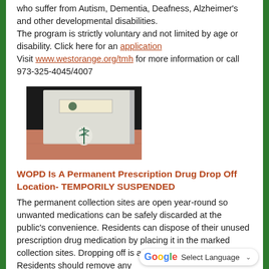who suffer from Autism, Dementia, Deafness, Alzheimer's and other developmental disabilities. The program is strictly voluntary and not limited by age or disability. Click here for an application Visit www.westorange.org/tmh for more information or call 973-325-4045/4007
[Figure (photo): Photo of a prescription drug drop-off collection box mounted on a wall, white metal cabinet with a medical logo (caduceus) at the bottom, on a salmon/pink tiled floor background]
WOPD Is A Permanent Prescription Drug Drop Off Location- TEMPORILY SUSPENDED
The permanent collection sites are open year-round so unwanted medications can be safely discarded at the public's convenience. Residents can dispose of their unused prescription drug medication by placing it in the marked collection sites. Dropping off is anonymous and safe. Residents should remove any identifying information from the medication container